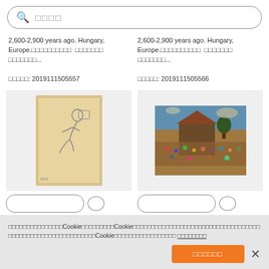[Figure (screenshot): Search bar with magnifying glass icon and Japanese placeholder text]
2,600-2,900 years ago. Hungary, Europe.□□□□□□□□□□ □□□□□□□ □□□□□□□...
□□□□□: 2019111505557
2,600-2,900 years ago. Hungary, Europe.□□□□□□□□□□ □□□□□□□ □□□□□□□...
□□□□□: 2019111505566
[Figure (photo): Sketch artwork - a figure bending over, pencil/charcoal drawing on aged paper]
[Figure (photo): Flemish painting showing crowded village scene with many figures and buildings]
□□□□□□□□□□□□□□□Cookie□□□□□□□□□Cookie□□□□□□□□□□□□□□□□□□□□□□□□□□□□□□□□□□□□□□□□□□□□□□□Cookie□□□□□□□□□□□□□□□□□ □□□□□□□□
□□□□□□